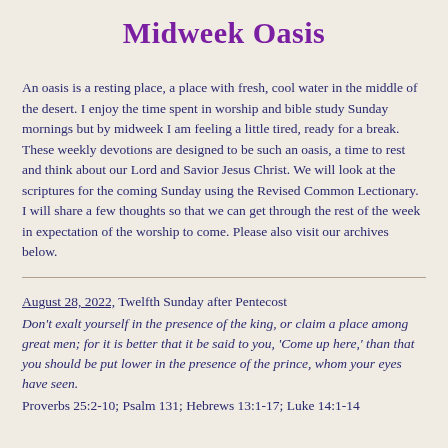Midweek Oasis
An oasis is a resting place, a place with fresh, cool water in the middle of the desert. I enjoy the time spent in worship and bible study Sunday mornings but by midweek I am feeling a little tired, ready for a break. These weekly devotions are designed to be such an oasis, a time to rest and think about our Lord and Savior Jesus Christ. We will look at the scriptures for the coming Sunday using the Revised Common Lectionary. I will share a few thoughts so that we can get through the rest of the week in expectation of the worship to come. Please also visit our archives below.
August 28, 2022, Twelfth Sunday after Pentecost
Don't exalt yourself in the presence of the king, or claim a place among great men; for it is better that it be said to you, 'Come up here,' than that you should be put lower in the presence of the prince, whom your eyes have seen.
Proverbs 25:2-10; Psalm 131; Hebrews 13:1-17; Luke 14:1-14